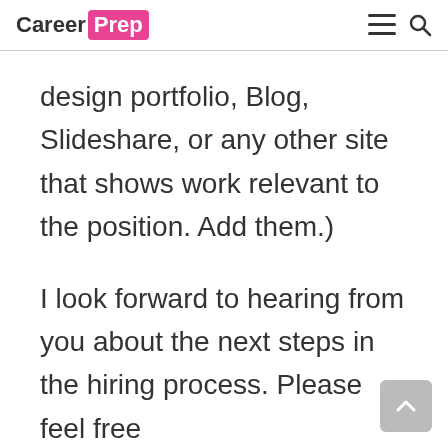Career Prep
design portfolio, Blog, Slideshare, or any other site that shows work relevant to the position. Add them.)
I look forward to hearing from you about the next steps in the hiring process. Please feel free